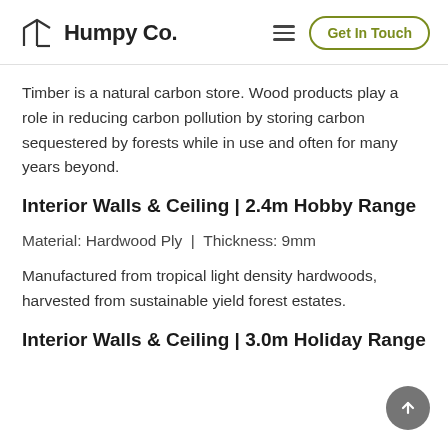Humpy Co.
Timber is a natural carbon store. Wood products play a role in reducing carbon pollution by storing carbon sequestered by forests while in use and often for many years beyond.
Interior Walls & Ceiling | 2.4m Hobby Range
Material: Hardwood Ply | Thickness: 9mm
Manufactured from tropical light density hardwoods, harvested from sustainable yield forest estates.
Interior Walls & Ceiling | 3.0m Holiday Range